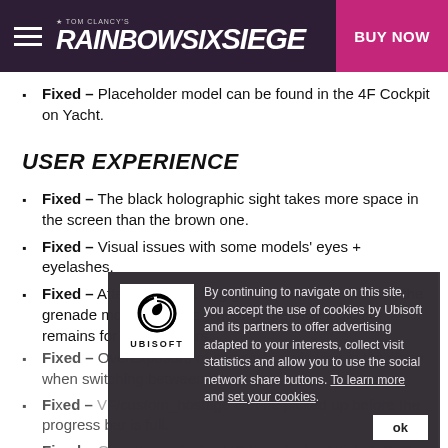Tom Clancy's Rainbow Six Siege — BUY NOW
Fixed – Placeholder model can be found in the 4F Cockpit on Yacht.
USER EXPERIENCE
Fixed – The black holographic sight takes more space in the screen than the brown one.
Fixed – Visual issues with some models' eyes + eyelashes.
Fixed – After cooking a frag grenade until it explodes, the grenade model remains + nearby grenade indicator remains for other players.
Fixed – Overexposure of items when viewing in the shop. View when switching between items.
Fixed – VF/custom_hostage can be picked up before the progress bar is full.
Fixed – Operators missing VO lines in the Article 5 PvE mission.
Fixed – Character animations freeze in the main menu.
Fixed – Pistol appears in the hands of an Operator when...